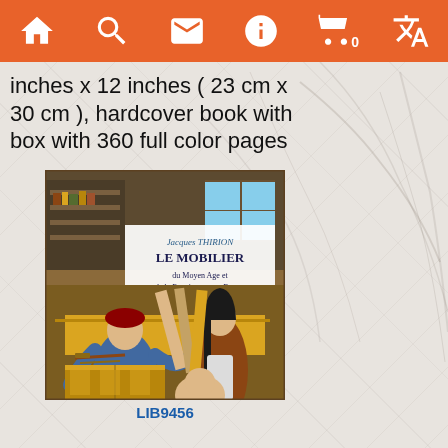Navigation bar with home, search, mail, info, cart (0), translate icons
inches x 12 inches ( 23 cm x 30 cm ), hardcover book with box with 360 full color pages
[Figure (photo): Book cover of 'Le Mobilier du Moyen Age et de la Renaissance en France' by Jacques Thirion, showing a medieval workshop scene with craftsmen working on furniture]
LIB9456